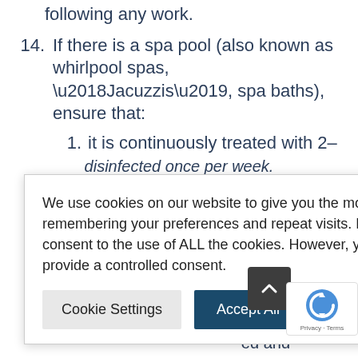following any work.
14. If there is a spa pool (also known as whirlpool spas, ‘Jacuzzis’, spa baths), ensure that:
1. it is continuously treated with 2–3mg/l
[partial, obscured by cookie banner] e levels and
[partial, obscured by cookie banner] three times
[partial, obscured by cookie banner] s replaced
[partial, obscured by cookie banner] ed daily;
[partial, obscured by cookie banner] ed and
disinfected once per week.
We use cookies on our website to give you the most relevant experience by remembering your preferences and repeat visits. By clicking “Accept All”, you consent to the use of ALL the cookies. However, you may visit "Cookie Settings" to provide a controlled consent.